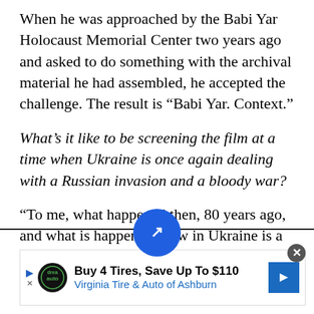When he was approached by the Babi Yar Holocaust Memorial Center two years ago and asked to do something with the archival material he had assembled, he accepted the challenge. The result is “Babi Yar. Context.”
What’s it like to be screening the film at a time when Ukraine is once again dealing with a Russian invasion and a bloody war?
“To me, what happened then, 80 years ago, and what is happening now in Ukraine is a terrible
[Figure (other): Blue circular navigation button with white arrow/compass icon overlaid at the bottom of the text area]
[Figure (other): Advertisement banner: Buy 4 Tires, Save Up To $110 - Virginia Tire & Auto of Ashburn, with Drea Auto logo and blue arrow icon]